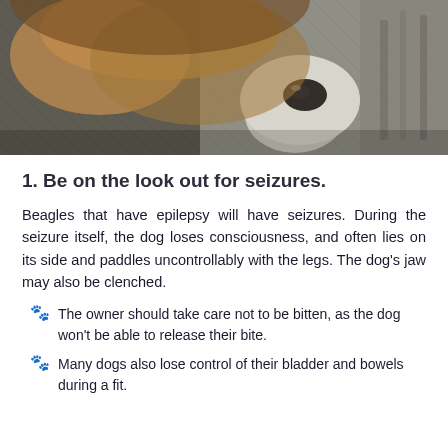[Figure (photo): Close-up photo of a Beagle dog resting on or near a grey patterned fabric/blanket, showing the dog's face and nose from close range]
1. Be on the look out for seizures.
Beagles that have epilepsy will have seizures. During the seizure itself, the dog loses consciousness, and often lies on its side and paddles uncontrollably with the legs. The dog's jaw may also be clenched.
The owner should take care not to be bitten, as the dog won't be able to release their bite.
Many dogs also lose control of their bladder and bowels during a fit.